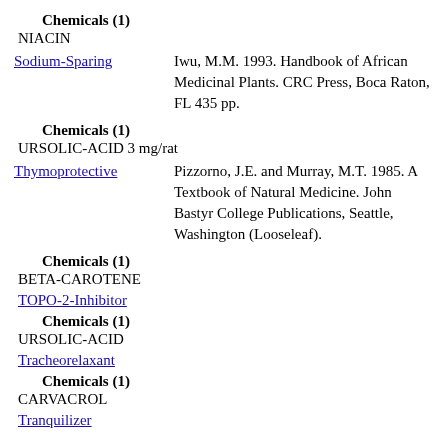Chemicals (1)
NIACIN
Sodium-Sparing
Iwu, M.M. 1993. Handbook of African Medicinal Plants. CRC Press, Boca Raton, FL 435 pp.
Chemicals (1)
URSOLIC-ACID 3 mg/rat
Thymoprotective
Pizzorno, J.E. and Murray, M.T. 1985. A Textbook of Natural Medicine. John Bastyr College Publications, Seattle, Washington (Looseleaf).
Chemicals (1)
BETA-CAROTENE
TOPO-2-Inhibitor
Chemicals (1)
URSOLIC-ACID
Tracheorelaxant
Chemicals (1)
CARVACROL
Tranquilizer